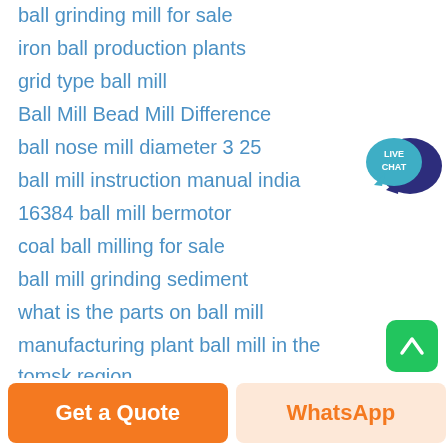ball grinding mill for sale
iron ball production plants
grid type ball mill
Ball Mill Bead Mill Difference
ball nose mill diameter 3 25
ball mill instruction manual india
16384 ball mill bermotor
coal ball milling for sale
ball mill grinding sediment
what is the parts on ball mill
manufacturing plant ball mill in the tomsk region
Ball Manganese Ash
ball mills joint
Design Calculation Of Ball Mill
[Figure (logo): Live Chat speech bubble badge in teal/dark blue]
[Figure (other): Get a Quote orange button, WhatsApp button, and green scroll-to-top arrow button at bottom of page]